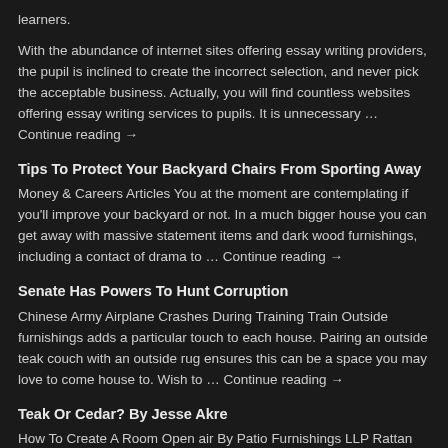learners.
With the abundance of internet sites offering essay writing providers, the pupil is inclined to create the incorrect selection, and never pick the acceptable business. Actually, you will find countless websites offering essay writing services to pupils. It is unnecessary … Continue reading →
Tips To Protect Your Backyard Chairs From Sporting Away
Money & Careers Articles You at the moment are contemplating if you'll improve your backyard or not. In a much bigger house you can get away with massive statement items and dark wood furnishings, including a contact of drama to … Continue reading →
Senate Has Powers To Hunt Corruption
Chinese Army Airplane Crashes During Training Train Outside furnishings adds a particular touch to each house. Pairing an outside teak couch with an outside rug ensures this can be a space you may love to come house to. Wish to … Continue reading →
Teak Or Cedar? By Jesse Akre
How To Create A Room Open air By Patio Furnishings LLP Rattan outside furniture is most commonly seen in domestic gardens, however that is removed from the one type of out of doors space in a